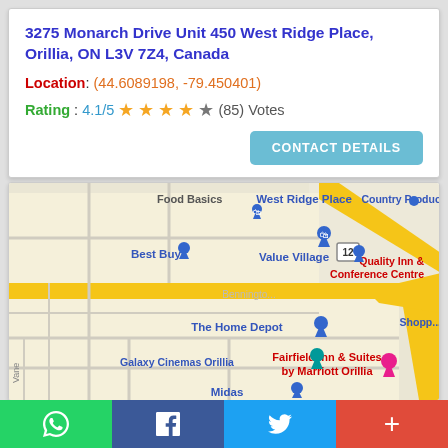3275 Monarch Drive Unit 450 West Ridge Place, Orillia, ON L3V 7Z4, Canada
Location: (44.6089198, -79.450401)
Rating: 4.1/5 ★★★★☆ (85) Votes
CONTACT DETAILS
[Figure (map): Google Maps view of West Ridge Place area in Orillia, Ontario showing nearby businesses including Food Basics, Best Buy, Value Village, The Home Depot, Galaxy Cinemas Orillia, Midas, Fairfield Inn & Suites by Marriott Orillia, Quality Inn & Conference Centre, Country Produce, with yellow road markings and blue location pins.]